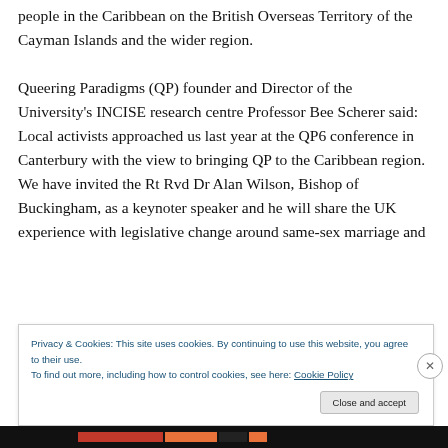people in the Caribbean on the British Overseas Territory of the Cayman Islands and the wider region.
Queering Paradigms (QP) founder and Director of the University's INCISE research centre Professor Bee Scherer said: Local activists approached us last year at the QP6 conference in Canterbury with the view to bringing QP to the Caribbean region.  We have invited the Rt Rvd Dr Alan Wilson, Bishop of Buckingham, as a keynoter speaker and he will share the UK experience with legislative change around same-sex marriage and
Privacy & Cookies: This site uses cookies. By continuing to use this website, you agree to their use.
To find out more, including how to control cookies, see here: Cookie Policy